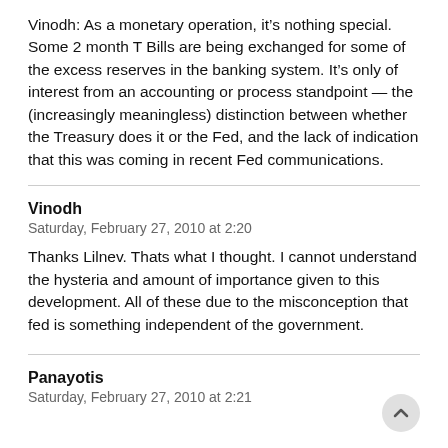Vinodh: As a monetary operation, it's nothing special. Some 2 month T Bills are being exchanged for some of the excess reserves in the banking system. It's only of interest from an accounting or process standpoint — the (increasingly meaningless) distinction between whether the Treasury does it or the Fed, and the lack of indication that this was coming in recent Fed communications.
Vinodh
Saturday, February 27, 2010 at 2:20
Thanks Lilnev. Thats what I thought. I cannot understand the hysteria and amount of importance given to this development. All of these due to the misconception that fed is something independent of the government.
Panayotis
Saturday, February 27, 2010 at 2:21